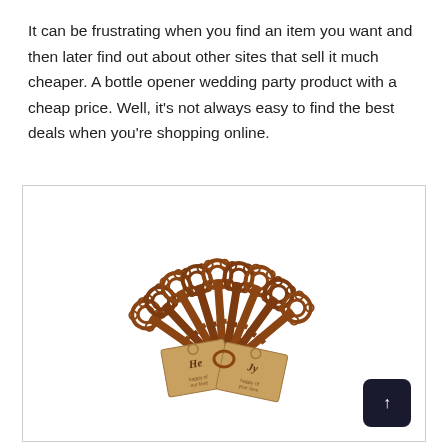It can be frustrating when you find an item you want and then later find out about other sites that sell it much cheaper. A bottle opener wedding party product with a cheap price. Well, it's not always easy to find the best deals when you're shopping online.
[Figure (photo): A fan of antique skeleton key bottle openers arranged in a spread pattern with decorative kraft paper tags attached, showing wedding party favors]